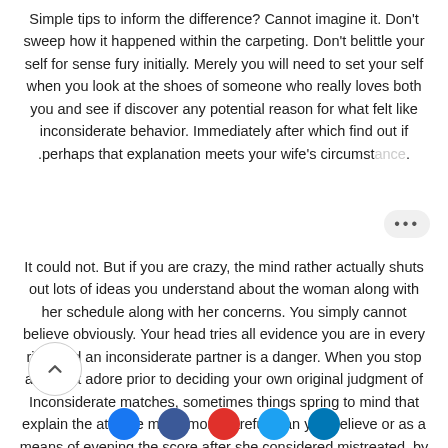Simple tips to inform the difference? Cannot imagine it. Don't sweep how it happened within the carpeting. Don't belittle your self for sense fury initially. Merely you will need to set your self when you look at the shoes of someone who really loves both you and see if discover any potential reason for what felt like inconsiderate behavior. Immediately after which find out if perhaps that explanation meets your wife's circumstance.
It could not. But if you are crazy, the mind rather actually shuts out lots of ideas you understand about the woman along with her schedule along with her concerns. You simply cannot believe obviously. Your head tries all evidence you are in every risk, and an inconsiderate partner is a danger. When you stop and trust adore prior to deciding your own original judgment of Inconsiderate matches, sometimes things spring to mind that explain the attitude much more careful than you believe or as a means of evening the score after she considered mistreated by your.